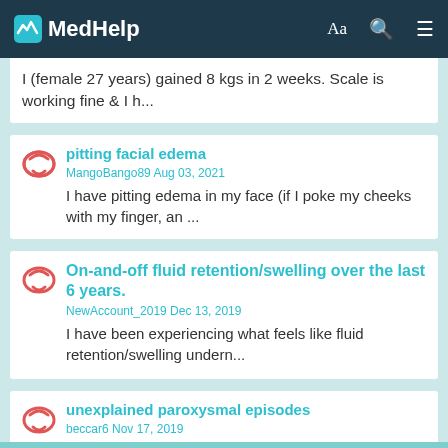MedHelp
I (female 27 years) gained 8 kgs in 2 weeks. Scale is working fine & I h...
pitting facial edema
MangoBango89 Aug 03, 2021
I have pitting edema in my face (if I poke my cheeks with my finger, an ...
On-and-off fluid retention/swelling over the last 6 years.
NewAccount_2019 Dec 13, 2019
I have been experiencing what feels like fluid retention/swelling undern...
unexplained paroxysmal episodes
beccar6 Nov 17, 2019
I'm going crazy trying to figure out what's wrong with me. I've had the...